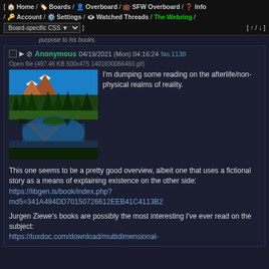[ Home / Boards / Overboard / SFW Overboard / Info / Account / Settings / Watched Threads / The Webring / Board-specific CSS ] [ up / down ]
purpose to his books.
Anonymous 04/19/2021 (Mon) 04:16:24 No.1138
Open file (497.46 KB 500x475 1401830066493.gif)
[Figure (photo): Mountain landscape with pine trees reflected in a lake, snow-capped mountain peak in background, blue sky]
I'm dumping some reading on the afterlife/non-physical realms of reality.

This one seems to be a pretty good overview, albeit one that uses a fictional story as a means of explaining existence on the other side:
https://libgen.is/book/index.php?md5=341A494DD70150726612EEB41C4113B2

Jurgen Ziewe's books are possibly the most interesting I've ever read on the subject:
https://tuxdoc.com/download/multidimensional-